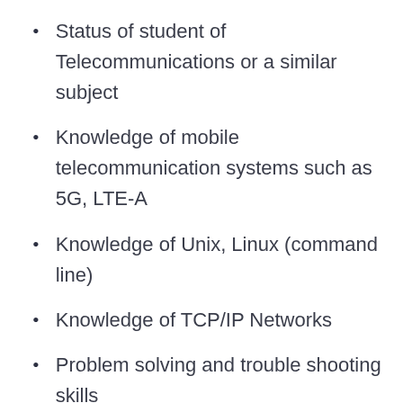Status of student of Telecommunications or a similar subject
Knowledge of mobile telecommunication systems such as 5G, LTE-A
Knowledge of Unix, Linux (command line)
Knowledge of TCP/IP Networks
Problem solving and trouble shooting skills